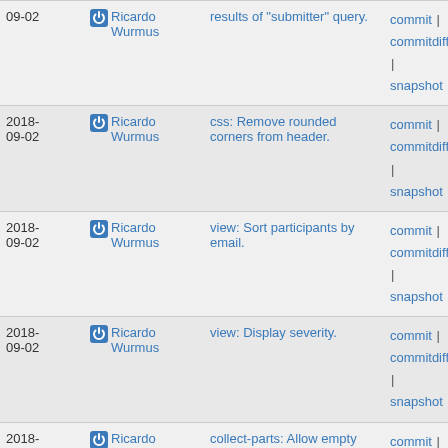| Date | Author | Description | Links |
| --- | --- | --- | --- |
| 2018-09-02 | Ricardo Wurmus | results of "submitter" query. | commit | commitdiff | tree | snapshot |
| 2018-09-02 | Ricardo Wurmus | css: Remove rounded corners from header. | commit | commitdiff | tree | snapshot |
| 2018-09-02 | Ricardo Wurmus | view: Sort participants by email. | commit | commitdiff | tree | snapshot |
| 2018-09-02 | Ricardo Wurmus | view: Display severity. | commit | commitdiff | tree | snapshot |
| 2018-09-02 | Ricardo Wurmus | collect-parts: Allow empty line before boundary. | commit | commitdiff | tree | snapshot |
| 2018-09-02 | Ricardo Wurmus | Adjust search box styles. | commit | commitdiff | tree | snapshot |
| 2018-09-02 | Ricardo Wurmus | view: Change title for list of issues with recent activity. | commit | commitdiff | tree | snapshot |